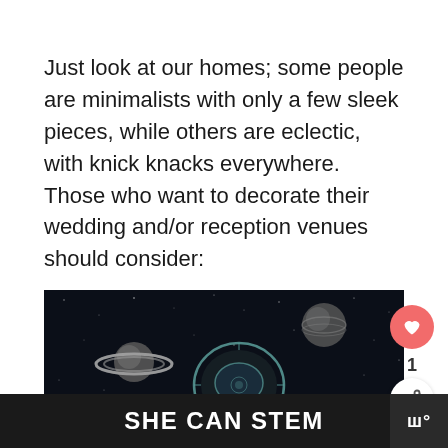Just look at our homes; some people are minimalists with only a few sleek pieces, while others are eclectic, with knick knacks everywhere. Those who want to decorate their wedding and/or reception venues should consider:
[Figure (illustration): Dark space-themed illustration showing Saturn with rings, a planet, and an astronaut helmet on a dark starry background. At the bottom, bold white text reads 'SHE CAN STEM' on a dark bar with a logo.]